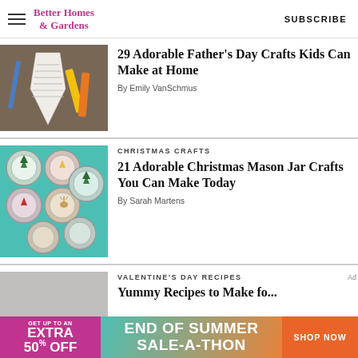Better Homes & Gardens | SUBSCRIBE
[Figure (photo): Tie-shaped printable Father's Day craft with crayons on a wooden surface]
29 Adorable Father's Day Crafts Kids Can Make at Home
By Emily VanSchmus
CHRISTMAS CRAFTS
[Figure (photo): Colorful Christmas mason jar lids filled with miniature holiday scenes on a teal background]
21 Adorable Christmas Mason Jar Crafts You Can Make Today
By Sarah Martens
VALENTINE'S DAY RECIPES
[Figure (photo): Gray placeholder thumbnail for Valentine's Day recipe article]
Yummy Recipes to Make for...
[Figure (infographic): Advertisement banner: GET UP TO AN EXTRA 50% OFF | END OF SUMMER SALE-A-THON | SHOP NOW]